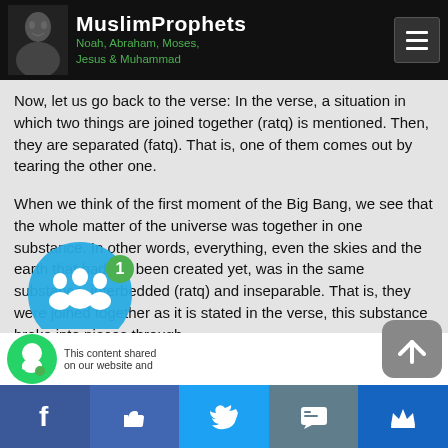MuslimProphets — Noah, Abraham, Moses, Jesus & Muhammad
Now, let us go back to the verse: In the verse, a situation in which two things are joined together (ratq) is mentioned. Then, they are separated (fatq). That is, one of them comes out by tearing the other one.
When we think of the first moment of the Big Bang, we see that the whole matter of the universe was together in one substance. In other words, everything, even the skies and the earth that had not been created yet, was in the same substance, interbedded (ratq) and inseparable. That is, they were joined together as it is stated in the verse, this substance broke into pieces through
This [content] on our webs[ite]